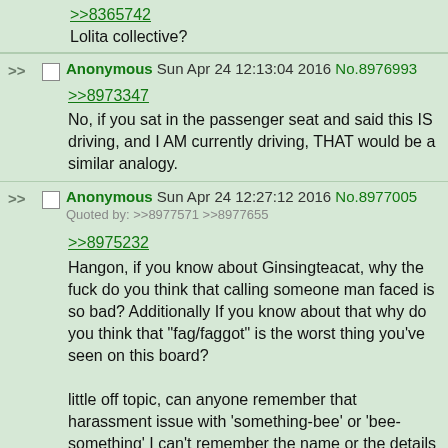>>8365742
Lolita collective?
Anonymous Sun Apr 24 12:13:04 2016 No.8976993
>>8973347
No, if you sat in the passenger seat and said this IS driving, and I AM currently driving, THAT would be a similar analogy.
Anonymous Sun Apr 24 12:27:12 2016 No.8977005
Quoted by: >>8977571 >>8977655
>>8975232
Hangon, if you know about Ginsingteacat, why the fuck do you think that calling someone man faced is so bad? Additionally If you know about that why do you think that "fag/faggot" is the worst thing you've seen on this board?

little off topic, can anyone remember that harassment issue with 'something-bee' or 'bee-something' I can't remember the name or the details much basically the girl was getting harrassed so bad people where pretty much one